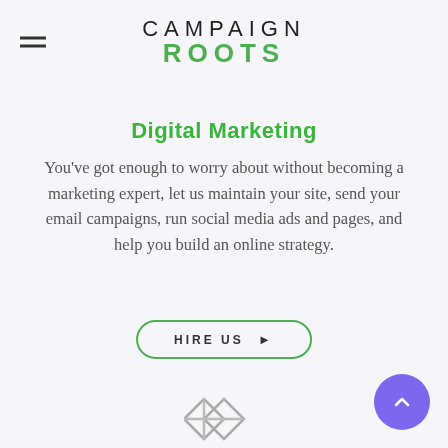CAMPAIGN ROOTS
Digital Marketing
You've got enough to worry about without becoming a marketing expert, let us maintain your site, send your email campaigns, run social media ads and pages, and help you build an online strategy.
HIRE US ▶
[Figure (illustration): Purple circular scroll-to-top button with upward arrow in bottom-right corner]
[Figure (illustration): Partially visible geometric/puzzle icon at bottom center of page]